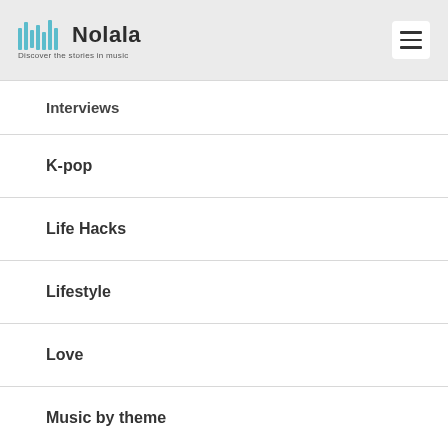Nolala — Discover the stories in music
Interviews
K-pop
Life Hacks
Lifestyle
Love
Music by theme
Music lovers
On Repeat